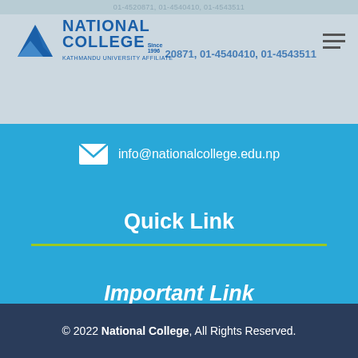National College - KATHMANDU UNIVERSITY AFFILIATE - 01-4520871, 01-4540410, 01-4543511
info@nationalcollege.edu.np
Quick Link
Important Link
© 2022 National College, All Rights Reserved.